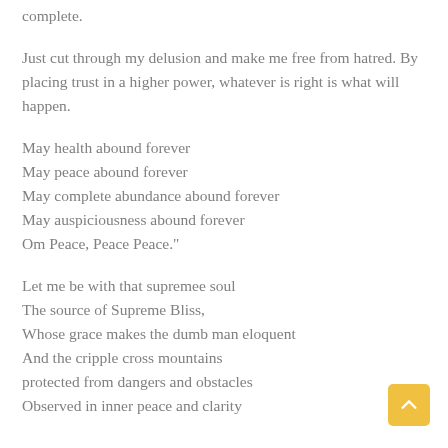complete.
Just cut through my delusion and make me free from hatred. By placing trust in a higher power, whatever is right is what will happen.
May health abound forever
May peace abound forever
May complete abundance abound forever
May auspiciousness abound forever
Om Peace, Peace Peace."
Let me be with that supremee soul
The source of Supreme Bliss,
Whose grace makes the dumb man eloquent
And the cripple cross mountains
protected from dangers and obstacles
Observed in inner peace and clarity